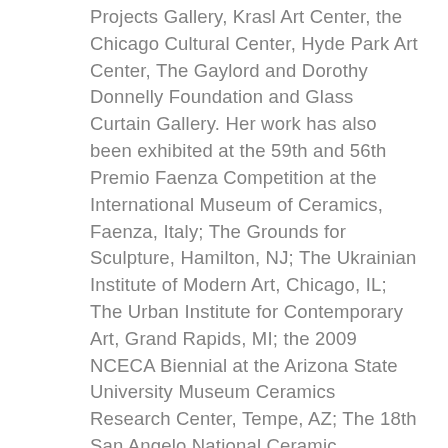Projects Gallery, Krasl Art Center, the Chicago Cultural Center, Hyde Park Art Center, The Gaylord and Dorothy Donnelly Foundation and Glass Curtain Gallery. Her work has also been exhibited at the 59th and 56th Premio Faenza Competition at the International Museum of Ceramics, Faenza, Italy; The Grounds for Sculpture, Hamilton, NJ; The Ukrainian Institute of Modern Art, Chicago, IL; The Urban Institute for Contemporary Art, Grand Rapids, MI; the 2009 NCECA Biennial at the Arizona State University Museum Ceramics Research Center, Tempe, AZ; The 18th San Angelo National Ceramic Competition at the San Angelo Museum of Fine Arts, San Angelo, TX; The Koehnline Museum of Art, Oakton Community College, Skokie, IL; Visualizing TRANS at the University of Wisconsin-Madison Visual Culture Conference; Chicago Sculpture International Biennale at FLATFILE Galleries; SOFA Chicago 2004 with